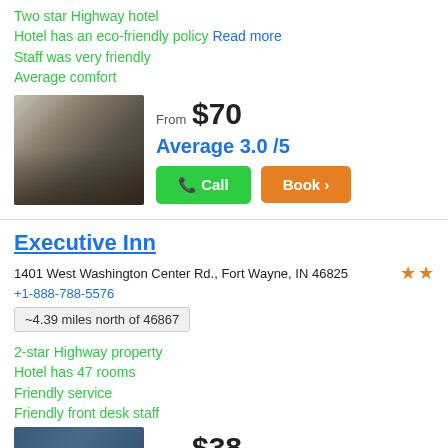Two star Highway hotel
Hotel has an eco-friendly policy Read more
Staff was very friendly
Average comfort
[Figure (photo): Interior photo of hotel dining room with stone walls, chairs, and tables]
From $70
Average 3.0 /5
Call
Book >
Executive Inn
1401 West Washington Center Rd., Fort Wayne, IN 46825
+1-888-788-5576
~4.39 miles north of 46867
2-star Highway property
Hotel has 47 rooms
Friendly service
Friendly front desk staff
[Figure (photo): Partial photo of hotel exterior or bed]
From $38